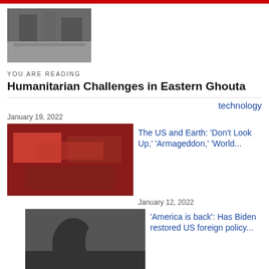[Figure (photo): Destroyed buildings in Eastern Ghouta]
YOU ARE READING
Humanitarian Challenges in Eastern Ghouta
technology
January 19, 2022
[Figure (photo): Thumbnail for US and Earth article]
The US and Earth: 'Don't Look Up,' 'Armageddon,' 'World...
January 12, 2022
[Figure (photo): Thumbnail for America is back article showing politicians]
'America is back': Has Biden restored US foreign policy...
January 3, 2022
[Figure (photo): Thumbnail for Mohammed bin Salman Icarus of Saudi Arabia event summary]
Event Summary: Mohammed bin Salman: Icarus of Saudi...
October 14, 2021
[Figure (photo): Thumbnail for Private Reception with Erdogan article]
A Private Reception with H.E. Recep Tayyip Erdoğan,...